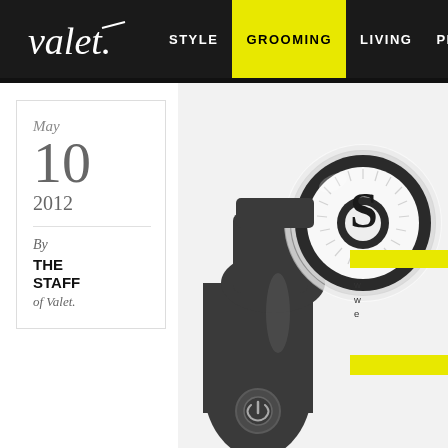valet. | STYLE | GROOMING | LIVING | PERSONAL
May
10
2012
By
THE STAFF
of Valet.
[Figure (photo): Close-up of a Clarisonic-style electric facial cleansing brush in dark gray/charcoal color, showing the circular brush head with white bristles arranged in a ring pattern with a darker center, tilted at an angle against a white background]
S
w
w
e